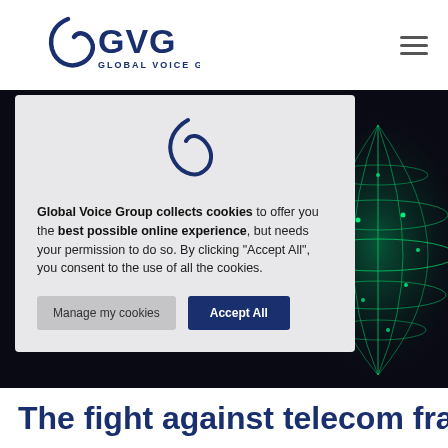[Figure (logo): GVG Global Voice Group logo in dark navy blue]
[Figure (illustration): Hamburger/menu icon (three horizontal lines in gray)]
[Figure (photo): Dark background hero image with glowing green network sphere on the right side]
[Figure (logo): GVG cursive logo mark (small, navy blue) at top of cookie modal]
Global Voice Group collects cookies to offer you the best possible online experience, but needs your permission to do so. By clicking “Accept All”, you consent to the use of all the cookies.
Manage my cookies
Accept All
The fight against telecom fraud